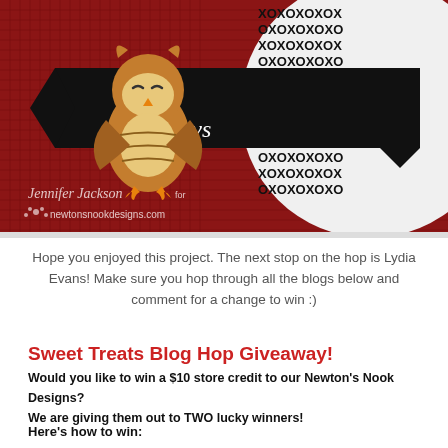[Figure (photo): Craft project photo showing a red burlap bag with an owl card topper. The owl illustration sits on a black banner reading 'Love Owlways'. Background has black and white XO pattern. Watermark reads 'Jennifer Jackson for newtonsnookdesigns.com']
Hope you enjoyed this project. The next stop on the hop is Lydia Evans! Make sure you hop through all the blogs below and comment for a change to win :)
Sweet Treats Blog Hop Giveaway!
Would you like to win a $10 store credit to our Newton's Nook Designs?
We are giving them out to TWO lucky winners!
Here's how to win: